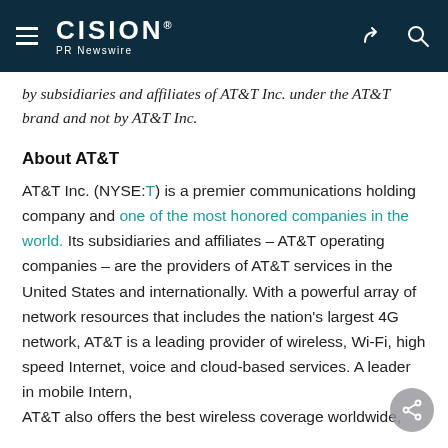CISION PR Newswire
by subsidiaries and affiliates of AT&T Inc. under the AT&T brand and not by AT&T Inc.
About AT&T
AT&T Inc. (NYSE:T) is a premier communications holding company and one of the most honored companies in the world. Its subsidiaries and affiliates – AT&T operating companies – are the providers of AT&T services in the United States and internationally. With a powerful array of network resources that includes the nation's largest 4G network, AT&T is a leading provider of wireless, Wi-Fi, high speed Internet, voice and cloud-based services. A leader in mobile Internet, AT&T also offers the best wireless coverage worldwide,